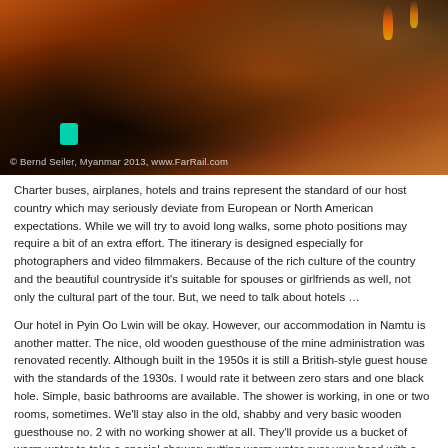[Figure (photo): Photograph of people at what appears to be a temple or cultural event in Myanmar at night, with warm red/orange lighting. A figure in a red draped garment is prominent. Watermark reads: © Bernd Seiler, Myanmar 2013, www.FarRail.com]
Charter buses, airplanes, hotels and trains represent the standard of our host country which may seriously deviate from European or North American expectations. While we will try to avoid long walks, some photo positions may require a bit of an extra effort. The itinerary is designed especially for photographers and video filmmakers. Because of the rich culture of the country and the beautiful countryside it's suitable for spouses or girlfriends as well, not only the cultural part of the tour. But, we need to talk about hotels …
Our hotel in Pyin Oo Lwin will be okay. However, our accommodation in Namtu is another matter. The nice, old wooden guesthouse of the mine administration was renovated recently. Although built in the 1950s it is still a British-style guest house with the standards of the 1930s. I would rate it between zero stars and one black hole. Simple, basic bathrooms are available. The shower is working, in one or two rooms, sometimes. We'll stay also in the old, shabby and very basic wooden guesthouse no. 2 with no working shower at all. They'll provide us a bucket of warm water to take a special shower: putting warm water over your head with a little bowl! While rooms are large in guest house no. 2, the facilities seem to be as old as the railway (they are not). Toilets in guest house 1 and some in guest house 2 have a